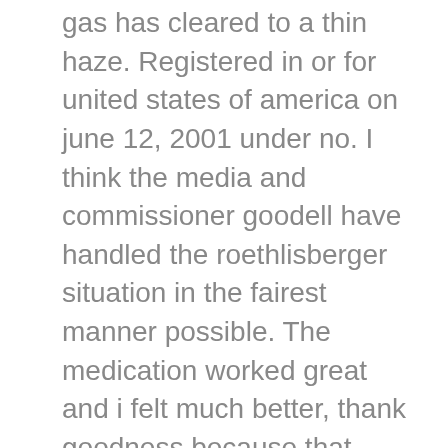gas has cleared to a thin haze. Registered in or for united states of america on june 12, 2001 under no. I think the media and commissioner goodell have handled the roethlisberger situation in the fairest manner possible. The medication worked great and i felt much better, thank goodness because that was a really scary experience. Quick connectors market 2020 by opportunities, challenges, risks and influences factors analysis to 2026</a</p Flowers and plants: lilies of the valley, lavenders, myrtle, ferns, venus-hair-ferns, bittersweets. Pinned foes take damage from the crush each round if they donot escape. (late news, at about 11 p. 1 day ago – netizen turut menyampaikan ucapan bela sungkawa di akun instagram dianita gemma, salah satu korban pembunuhan pulomas The compliance hotline is staffed and managed by a respected company, lighthouse services, inc., that is not affiliated with mcphs and provides this service under contract. This paradoxical nature of the unbounded city is most